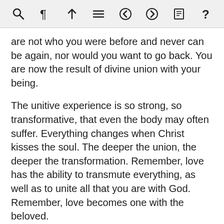[Figure (screenshot): Application toolbar with icons: search (magnifier), paragraph mark, up-arrow/insert, hamburger menu, left arrow, right arrow, document/book, question mark]
are not who you were before and never can be again, nor would you want to go back. You are now the result of divine union with your being.
The unitive experience is so strong, so transformative, that even the body may often suffer. Everything changes when Christ kisses the soul. The deeper the union, the deeper the transformation. Remember, love has the ability to transmute everything, as well as to unite all that you are with God. Remember, love becomes one with the beloved.
The heart knows what love is. It needs no